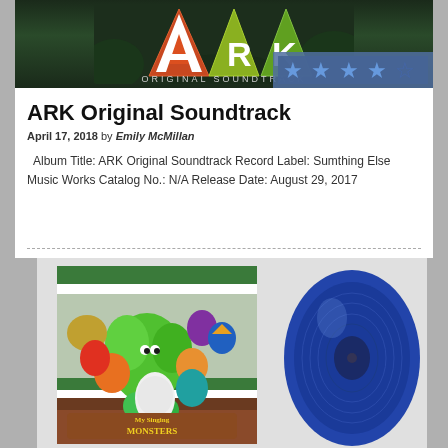[Figure (photo): ARK Original Soundtrack album cover with ARK logo (large triangle A with smaller triangles for R and K) on a dark green forest background, with a star rating overlay in the bottom right]
ARK Original Soundtrack
April 17, 2018 by Emily McMillan
Album Title: ARK Original Soundtrack Record Label: Sumthing Else Music Works Catalog No.: N/A Release Date: August 29, 2017
[Figure (photo): My Singing Monsters album artwork showing colorful cartoon monsters grouped together with a blue vinyl record visible to the right side]